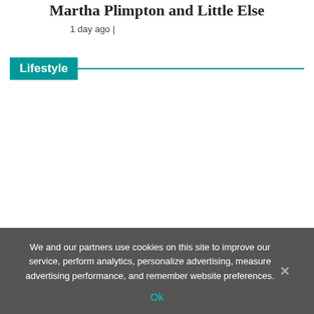Martha Plimpton and Little Else
1 day ago |
Lifestyle
We and our partners use cookies on this site to improve our service, perform analytics, personalize advertising, measure advertising performance, and remember website preferences.
Ok